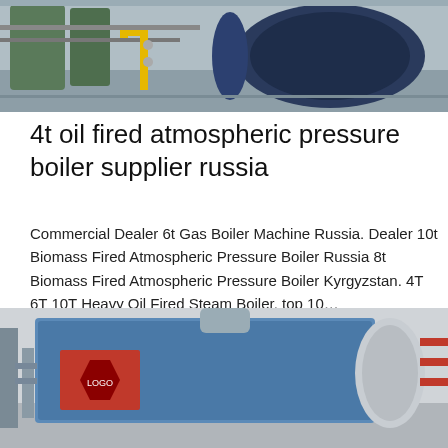[Figure (photo): Industrial boiler room with large blue cylindrical boilers, green tanks, yellow gas pipes, and mechanical equipment in a factory setting]
4t oil fired atmospheric pressure boiler supplier russia
Commercial Dealer 6t Gas Boiler Machine Russia. Dealer 10t Biomass Fired Atmospheric Pressure Boiler Russia 8t Biomass Fired Atmospheric Pressure Boiler Kyrgyzstan. 4T 6T 10T Heavy Oil Fired Steam Boiler. top 10…
Get Price
[Figure (photo): Industrial boiler equipment with a blue rectangular boiler unit with a red logo/emblem, connected to pipes and cylindrical tanks in a workshop]